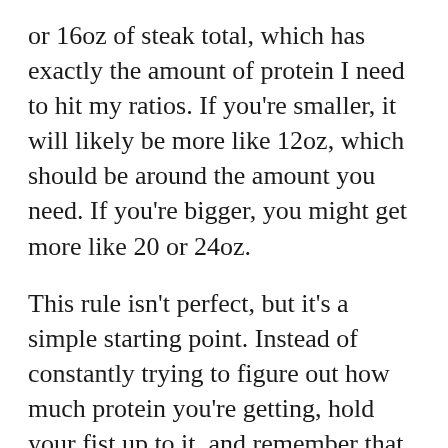or 16oz of steak total, which has exactly the amount of protein I need to hit my ratios. If you're smaller, it will likely be more like 12oz, which should be around the amount you need. If you're bigger, you might get more like 20 or 24oz.
This rule isn't perfect, but it's a simple starting point. Instead of constantly trying to figure out how much protein you're getting, hold your fist up to it, and remember that you get two fists of fatty meat per day.
The best meats are:
Beef (avoid super lean ground beef)
Lamb